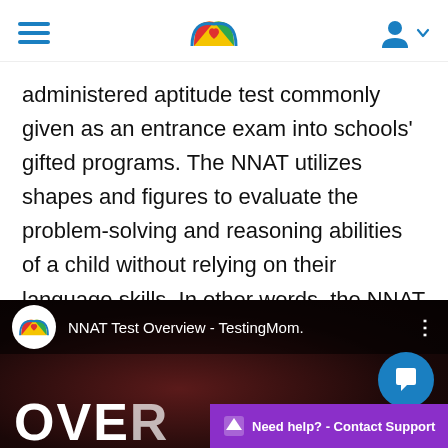TestingMom navigation header
administered aptitude test commonly given as an entrance exam into schools’ gifted programs. The NNAT utilizes shapes and figures to evaluate the problem-solving and reasoning abilities of a child without relying on their language skills. In other words, the NNAT assesses how a student thinks instead of what a student knows.
[Figure (screenshot): Video thumbnail for 'NNAT Test Overview - TestingMom.com' with TestingMom logo, dark background, large white text 'OVER', chat bubble icon, and purple 'Need help? - Contact Support' bar at bottom]